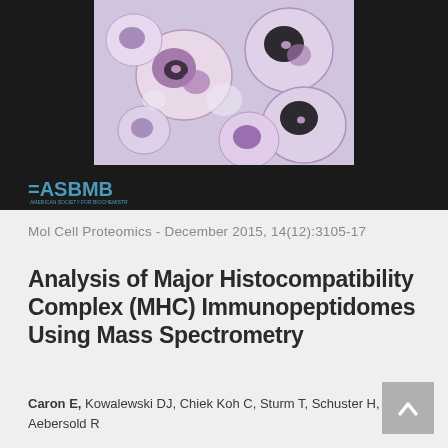[Figure (photo): Microscopy image of cells stained with purple/pink hematoxylin and eosin stain, showing multiple large cells with prominent nuclei against a light background.]
[Figure (logo): ASBMB (American Society for Biochemistry and Molecular Biology) logo in teal/blue color]
Mol Cell Proteomics - December 2015, 14(12):3105-17
Analysis of Major Histocompatibility Complex (MHC) Immunopeptidomes Using Mass Spectrometry
Caron E, Kowalewski DJ, Chiek Koh C, Sturm T, Schuster H, Aebersold R